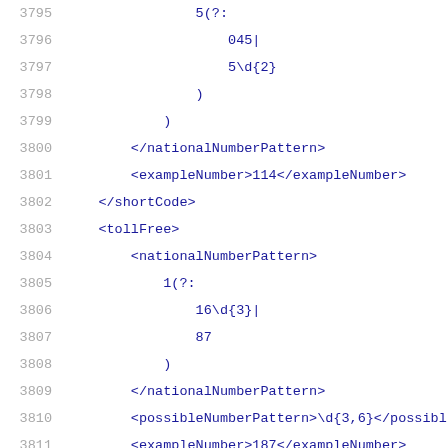[Figure (screenshot): Source code viewer showing XML code with line numbers 3795-3816. Lines show XML tags for nationalNumberPattern, exampleNumber, shortCode, tollFree, possibleNumberPattern, premiumRate elements, with regex patterns like 5(?:045|5\d{2}), 1(?:16\d{3}|87). Line numbers in gray, XML tags in dark blue, a comment URL in red.]